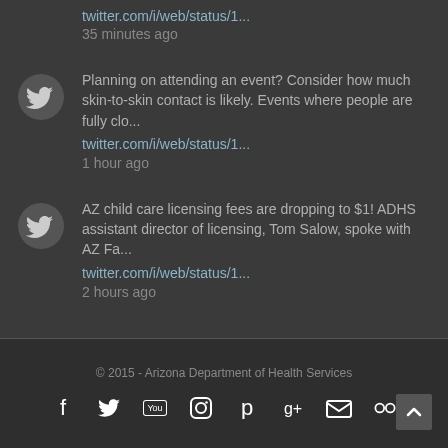twitter.com/i/web/status/1... 35 minutes ago
Planning on attending an event? Consider how much skin-to-skin contact is likely. Events where people are fully clo... twitter.com/i/web/status/1... 1 hour ago
AZ child care licensing fees are dropping to $1! ADHS assistant director of licensing, Tom Salow, spoke with AZ Fa... twitter.com/i/web/status/1... 2 hours ago
© 2015 - Arizona Department of Health Services